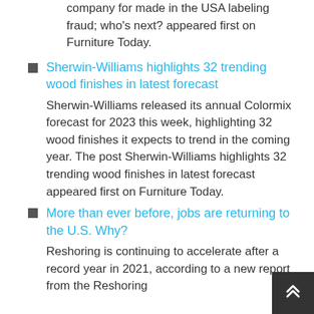company for made in the USA labeling fraud; who's next? appeared first on Furniture Today.
Sherwin-Williams highlights 32 trending wood finishes in latest forecast
Sherwin-Williams released its annual Colormix forecast for 2023 this week, highlighting 32 wood finishes it expects to trend in the coming year. The post Sherwin-Williams highlights 32 trending wood finishes in latest forecast appeared first on Furniture Today.
More than ever before, jobs are returning to the U.S. Why?
Reshoring is continuing to accelerate after a record year in 2021, according to a new report from the Reshoring